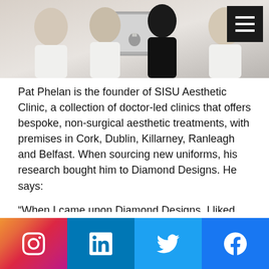[Figure (photo): Group of people in white uniforms/lab coats sitting behind a desk with an Apple iMac computer]
Pat Phelan is the founder of SISU Aesthetic Clinic, a collection of doctor-led clinics that offers bespoke, non-surgical aesthetic treatments, with premises in Cork, Dublin, Killarney, Ranleagh and Belfast. When sourcing new uniforms, his research bought him to Diamond Designs. He says:
“When I came upon Diamond Designs, I liked that I could add our logo to the uniforms and the promise of quick delivery. Our services include teeth whitening and if a practitioner gets bleach on their uniform, they’ll need a new one quickly. Diamond Designs is super-helpful in that respect. Also, I
[Figure (infographic): Social media icon bar with Instagram, LinkedIn, Twitter, and Facebook icons on dark background]